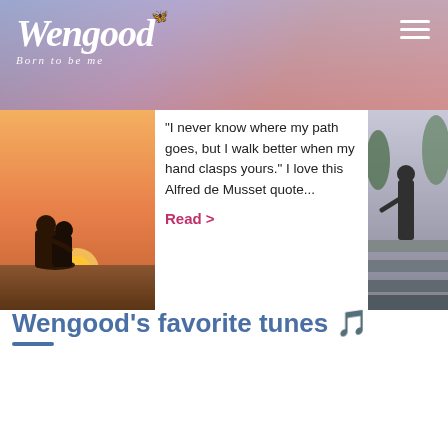Wengood — Born to be me
[Figure (photo): Couple sitting together watching sunset in a golden field, silhouetted against warm orange sky]
"I never know where my path goes, but I walk better when my hand clasps yours." I love this Alfred de Musset quote...
Read >
[Figure (photo): Person standing on stone steps in a scenic outdoor setting]
Wengood's favorite tunes 🎵
[Figure (screenshot): Spotify embedded playlist player showing 'Wengood's playlist' by wengood with playback controls and progress bar]
1  Only Love  Ben Howard  4:09
2  Let It BE - Beatles  AwokenONow (See They Oppositional 9's)  3:54